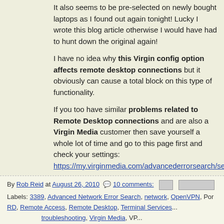It also seems to be pre-selected on newly bought laptops as I found out again tonight! Lucky I wrote this blog article otherwise I would have had to hunt down the original again!
I have no idea why this Virgin config option affects remote desktop connections but it obviously can cause a total block on this type of functionality.
If you too have similar problems related to Remote Desktop connections and are also a Virgin Media customer then save yourself a whole lot of time and go to this page first and check your settings: https://my.virginmedia.com/advancederrorsearch/settings
By Rob Reid at August 26, 2010  10 comments:  [email icon] [share buttons]
Labels: 3389, Advanced Network Error Search, network, OpenVPN, Por... RD, Remote Access, Remote Desktop, Terminal Services... troubleshooting, Virgin Media, VP...
FRIDAY, 6 AUGUST 2010
Techies Law - Definition
The definition of Techies Law